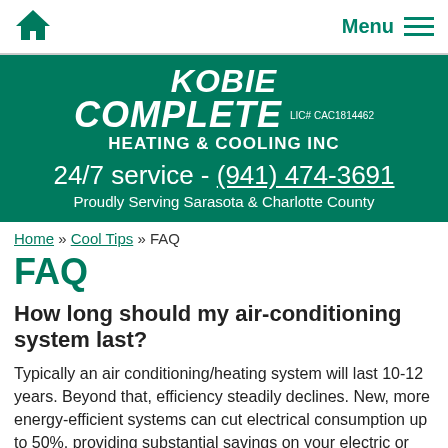Home | Menu
[Figure (logo): Kobie Complete Heating & Cooling Inc logo with LIC# CAC1814462, teal/green background, white text]
24/7 service - (941) 474-3691
Proudly Serving Sarasota & Charlotte County
Home » Cool Tips » FAQ
FAQ
How long should my air-conditioning system last?
Typically an air conditioning/heating system will last 10-12 years. Beyond that, efficiency steadily declines. New, more energy-efficient systems can cut electrical consumption up to 50%, providing substantial savings on your electric or gas